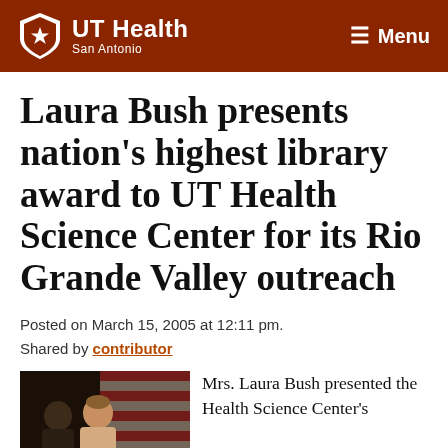UT Health San Antonio — Menu
Laura Bush presents nation's highest library award to UT Health Science Center for its Rio Grande Valley outreach
Posted on March 15, 2005 at 12:11 pm.
Shared by contributor
[Figure (photo): Two women posing in front of an American flag background at a formal event]
Mrs. Laura Bush presented the Health Science Center's